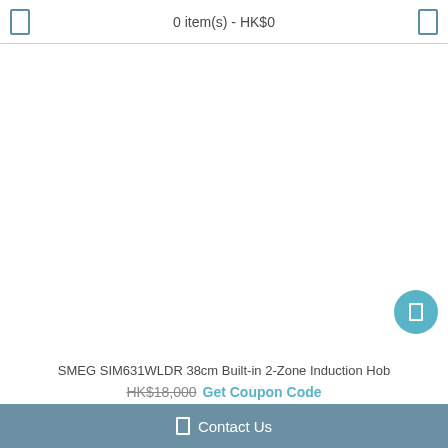0 item(s) - HK$0
[Figure (photo): Large white/empty product image area for SMEG SIM631WLDR induction hob]
SMEG SIM631WLDR 38cm Built-in 2-Zone Induction Hob
HK$18,000 Get Coupon Code
Contact Us